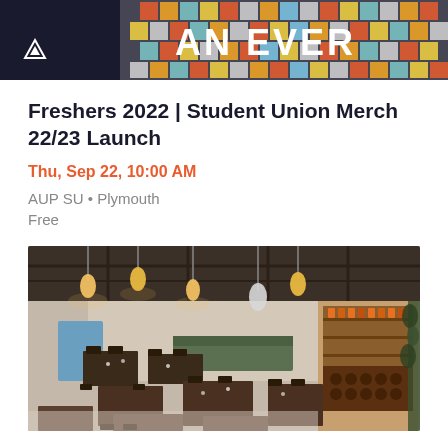[Figure (photo): Top banner image with dark background and colorful mosaic text reading 'AN EVER' with logo]
Freshers 2022 | Student Union Merch 22/23 Launch
Thu, Sep 22, 10:00 AM
AUP SU • Plymouth
Free
[Figure (photo): Interior photo of a restaurant/bar venue with hanging pendant lights, wooden tables and chairs, and a bar area with shelves]